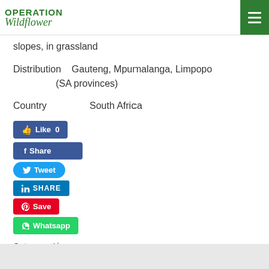Operation Wildflower
slopes, in grassland
Distribution    Gauteng, Mpumalanga, Limpopo (SA provinces)
Country    South Africa
[Figure (infographic): Social media sharing buttons: Like 0 (Facebook), Share (Facebook), Tweet (Twitter), SHARE (LinkedIn), Save (Pinterest), Whatsapp (WhatsApp)]
Category: Aloes